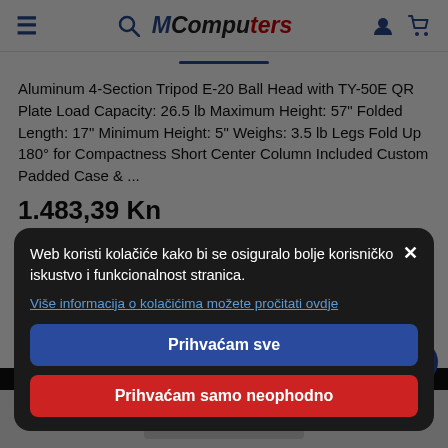M Computers — navigation header with search, account, and cart icons
Aluminum 4-Section Tripod E-20 Ball Head with TY-50E QR Plate Load Capacity: 26.5 lb Maximum Height: 57" Folded Length: 17" Minimum Height: 5" Weighs: 3.5 lb Legs Fold Up 180° for Compactness Short Center Column Included Custom Padded Case & ...
1.483,39 Kn
Web koristi kolačiće kako bi se osiguralo bolje korisničko iskustvo i funkcionalnost stranica.
Više informacija o kolačićima možete pročitati ovdje
Prihvaćam sve
Prihvaćam samo neophodno